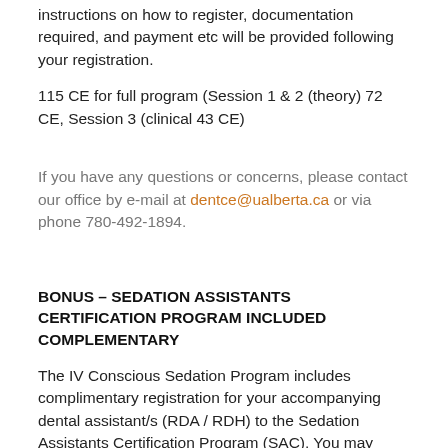instructions on how to register, documentation required, and payment etc will be provided following your registration.
115 CE for full program (Session 1 & 2 (theory) 72 CE, Session 3 (clinical 43 CE)
If you have any questions or concerns, please contact our office by e-mail at dentce@ualberta.ca or via phone 780-492-1894.
BONUS – SEDATION ASSISTANTS CERTIFICATION PROGRAM INCLUDED COMPLEMENTARY
The IV Conscious Sedation Program includes complimentary registration for your accompanying dental assistant/s (RDA / RDH) to the Sedation Assistants Certification Program (SAC). You may bring as many assistants from your office to train with you, and to attend formal curriculum (mandatory minimum of 2 assistants are required, or an additional fee will